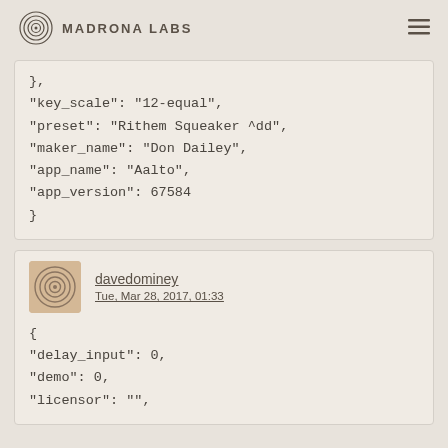Madrona Labs
},
"key_scale": "12-equal",
"preset": "Rithem Squeaker ^dd",
"maker_name": "Don Dailey",
"app_name": "Aalto",
"app_version": 67584
}
davedominey
Tue, Mar 28, 2017, 01:33
{
"delay_input": 0,
"demo": 0,
"licensor": "",